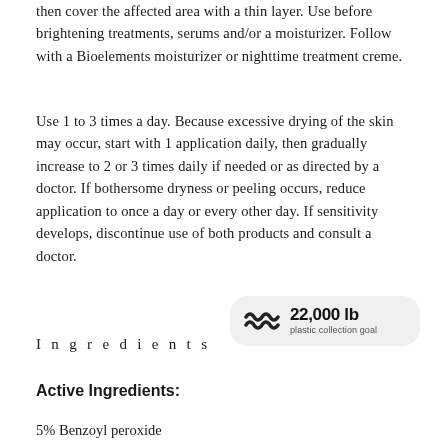then cover the affected area with a thin layer. Use before brightening treatments, serums and/or a moisturizer. Follow with a Bioelements moisturizer or nighttime treatment creme.
Use 1 to 3 times a day. Because excessive drying of the skin may occur, start with 1 application daily, then gradually increase to 2 or 3 times daily if needed or as directed by a doctor. If bothersome dryness or peeling occurs, reduce application to once a day or every other day. If sensitivity develops, discontinue use of both products and consult a doctor.
[Figure (logo): Wave/ocean logo badge showing 22,000 lb plastic collection goal]
Ingredients
Active Ingredients:
5% Benzoyl peroxide